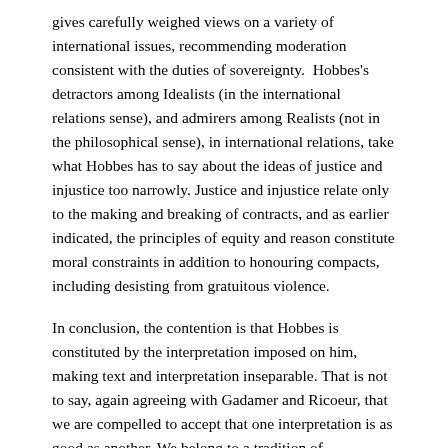gives carefully weighed views on a variety of international issues, recommending moderation consistent with the duties of sovereignty.  Hobbes's detractors among Idealists (in the international relations sense), and admirers among Realists (not in the philosophical sense), in international relations, take what Hobbes has to say about the ideas of justice and injustice too narrowly. Justice and injustice relate only to the making and breaking of contracts, and as earlier indicated, the principles of equity and reason constitute moral constraints in addition to honouring compacts, including desisting from gratuitous violence.
In conclusion, the contention is that Hobbes is constituted by the interpretation imposed on him, making text and interpretation inseparable. That is not to say, again agreeing with Gadamer and Ricoeur, that we are compelled to accept that one interpretation is as good as another. We belong to a tradition of interpretation, and have no option but to begin with certain prejudices which we may modify, but not so completely that no one recognises the activity in which we are engaged.